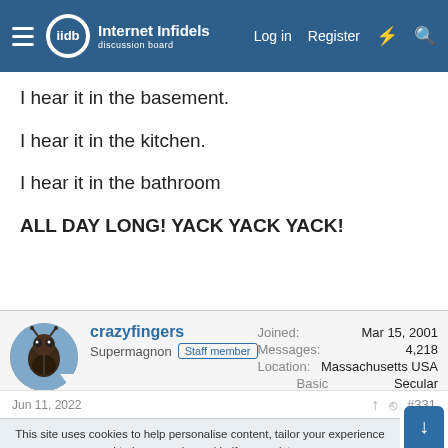Internet Infidels — Log in  Register
I hear it in the basement.
I hear it in the kitchen.
I hear it in the bathroom
ALL DAY LONG! YACK YACK YACK!
crazyfingers
Supermagnon  Staff member
Joined: Mar 15, 2001
Messages: 4,218
Location: Massachusetts USA
Basic Beliefs: Secular Humanism
Jun 11, 2022  #331
This site uses cookies to help personalise content, tailor your experience and to keep you logged in if you register.
By continuing to use this site, you are consenting to our use of cookies.
✓ Accept   Learn more...